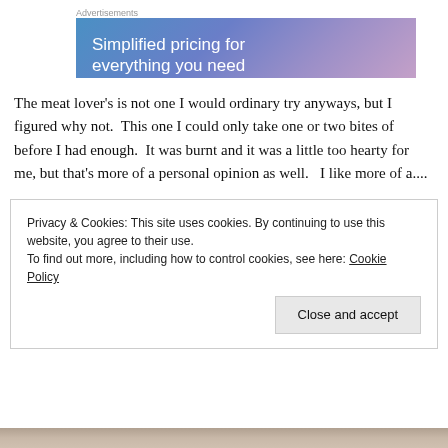Advertisements
[Figure (illustration): Advertisement banner with gradient blue-purple background showing text 'Simplified pricing for everything you need']
The meat lover’s is not one I would ordinary try anyways, but I figured why not.  This one I could only take one or two bites of before I had enough.  It was burnt and it was a little too hearty for me, but that’s more of a personal opinion as well.   I like more of a....
Privacy & Cookies: This site uses cookies. By continuing to use this website, you agree to their use.
To find out more, including how to control cookies, see here: Cookie Policy
Close and accept